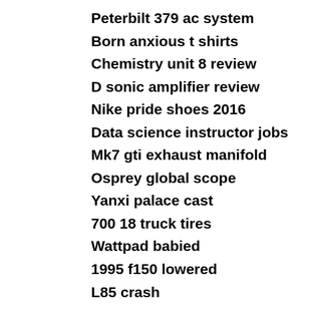Peterbilt 379 ac system
Born anxious t shirts
Chemistry unit 8 review
D sonic amplifier review
Nike pride shoes 2016
Data science instructor jobs
Mk7 gti exhaust manifold
Osprey global scope
Yanxi palace cast
700 18 truck tires
Wattpad babied
1995 f150 lowered
L85 crash